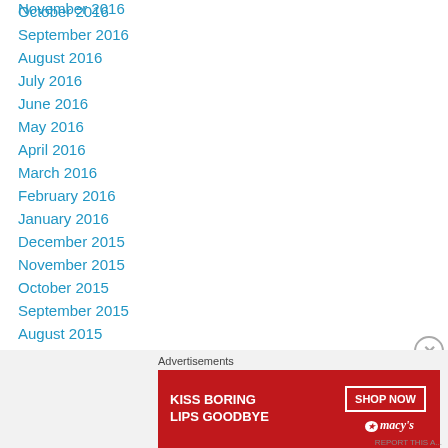November 2016
October 2016
September 2016
August 2016
July 2016
June 2016
May 2016
April 2016
March 2016
February 2016
January 2016
December 2015
November 2015
October 2015
September 2015
August 2015
July 2015
Advertisements
[Figure (photo): Macy's advertisement: KISS BORING LIPS GOODBYE with SHOP NOW button and Macy's star logo]